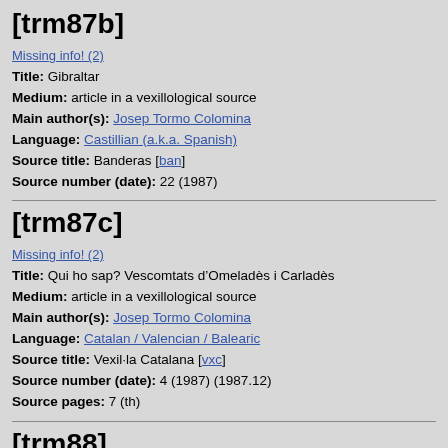[trm87b]
Missing info! (2)
Title: Gibraltar
Medium: article in a vexillological source
Main author(s): Josep Tormo Colomina
Language: Castillian (a.k.a. Spanish)
Source title: Banderas [ban]
Source number (date): 22 (1987)
[trm87c]
Missing info! (2)
Title: Qui ho sap? Vescomtats d’Omeladès i Carladès
Medium: article in a vexillological source
Main author(s): Josep Tormo Colomina
Language: Catalan / Valencian / Balearic
Source title: Vexil·la Catalana [vxc]
Source number (date): 4 (1987) (1987.12)
Source pages: 7 (th)
[trm88]